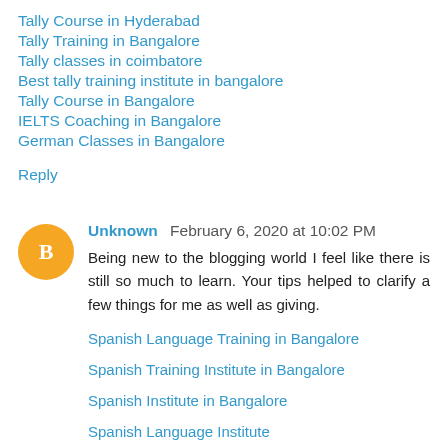Tally Course in Hyderabad
Tally Training in Bangalore
Tally classes in coimbatore
Best tally training institute in bangalore
Tally Course in Bangalore
IELTS Coaching in Bangalore
German Classes in Bangalore
Reply
Unknown  February 6, 2020 at 10:02 PM
Being new to the blogging world I feel like there is still so much to learn. Your tips helped to clarify a few things for me as well as giving.
Spanish Language Training in Bangalore
Spanish Training Institute in Bangalore
Spanish Institute in Bangalore
Spanish Language Institute